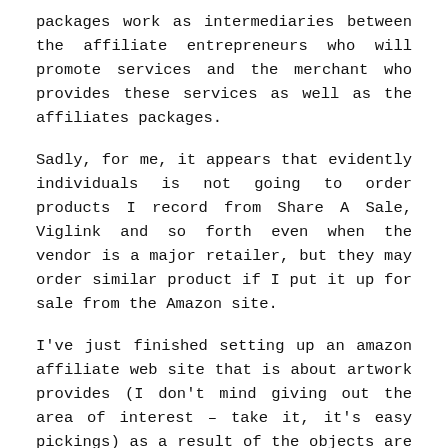packages work as intermediaries between the affiliate entrepreneurs who will promote services and the merchant who provides these services as well as the affiliates packages.
Sadly, for me, it appears that evidently individuals is not going to order products I record from Share A Sale, Viglink and so forth even when the vendor is a major retailer, but they may order similar product if I put it up for sale from the Amazon site.
I've just finished setting up an amazon affiliate web site that is about artwork provides (I don't mind giving out the area of interest – take it, it's easy pickings) as a result of the objects are often not costly, and bought with other associated objects.
Established in 1997, FOREX MEMBERSHIP (the corporate) is the model name for a group of